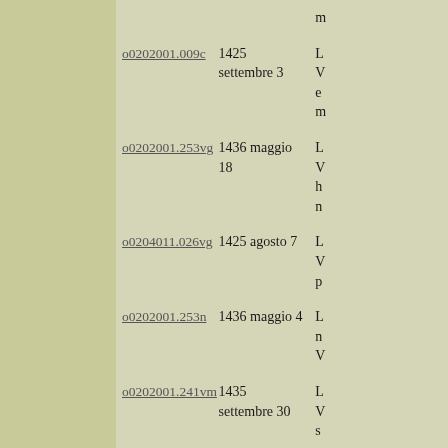| ID | Date | Description |
| --- | --- | --- |
| o0202001.009c | 1425 settembre 3 | L V e m |
| o0202001.253vg | 1436 maggio 18 | L V h n |
| o0204011.026vg | 1425 agosto 7 | L V p |
| o0202001.253n | 1436 maggio 4 | L n V |
| o0202001.241vm | 1435 settembre 30 | L V su cu p |
| o0204013.140i | 1436 novembre 6 | P to |